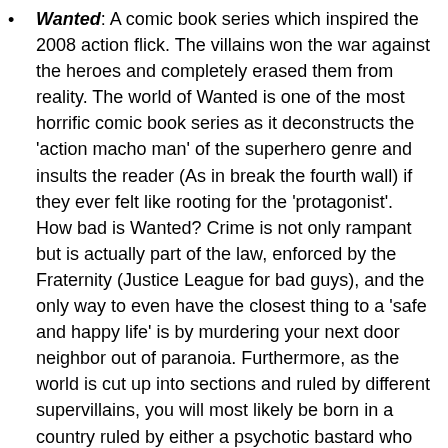Wanted: A comic book series which inspired the 2008 action flick. The villains won the war against the heroes and completely erased them from reality. The world of Wanted is one of the most horrific comic book series as it deconstructs the 'action macho man' of the superhero genre and insults the reader (As in break the fourth wall) if they ever felt like rooting for the 'protagonist'. How bad is Wanted? Crime is not only rampant but is actually part of the law, enforced by the Fraternity (Justice League for bad guys), and the only way to even have the closest thing to a 'safe and happy life' is by murdering your next door neighbor out of paranoia. Furthermore, as the world is cut up into sections and ruled by different supervillains, you will most likely be born in a country ruled by either a psychotic bastard who shoots children for shits and giggles, a Lex Luthor archetype who hungers for more unrestrained power, a literal Nazi from the future who wants another Holocaust, or a megalomaniac and sociopathic Chinese emperor who makes Mao Zedong like a chump or a completely immortal 'President-for-Life' Mugabe expy that will probably rule for eternity.